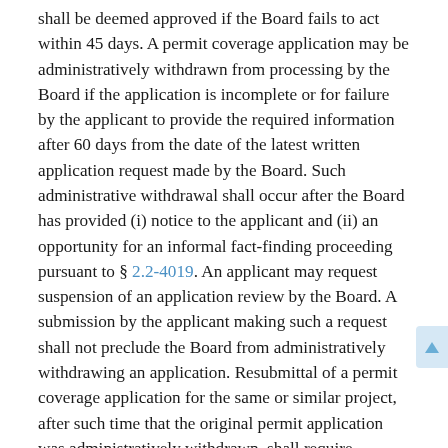shall be deemed approved if the Board fails to act within 45 days. A permit coverage application may be administratively withdrawn from processing by the Board if the application is incomplete or for failure by the applicant to provide the required information after 60 days from the date of the latest written application request made by the Board. Such administrative withdrawal shall occur after the Board has provided (i) notice to the applicant and (ii) an opportunity for an informal fact-finding proceeding pursuant to § 2.2-4019. An applicant may request suspension of an application review by the Board. A submission by the applicant making such a request shall not preclude the Board from administratively withdrawing an application. Resubmittal of a permit coverage application for the same or similar project, after such time that the original permit application was administratively withdrawn, shall require submittal of an additional permit application fee and may be subject to additional notice